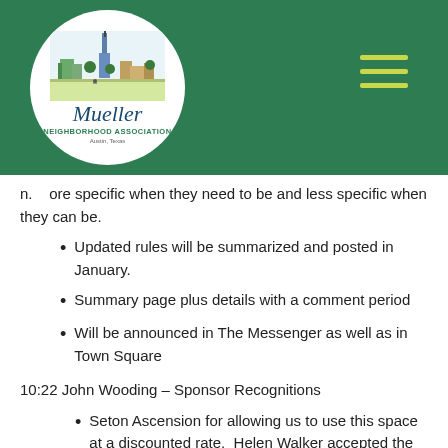[Figure (logo): Mueller Neighborhood Association logo — circular white badge with city skyline illustration, stylized italic 'Mueller' text, and 'Neighborhood Association' subtitle on green background with hamburger menu icon]
n. more specific when they need to be and less specific when they can be.
Updated rules will be summarized and posted in January.
Summary page plus details with a comment period
Will be announced in The Messenger as well as in Town Square
10:22 John Wooding – Sponsor Recognitions
Seton Ascension for allowing us to use this space at a discounted rate.  Helen Walker accepted the award on behalf of Seton Ascension.
HEB – Generous support of events in the